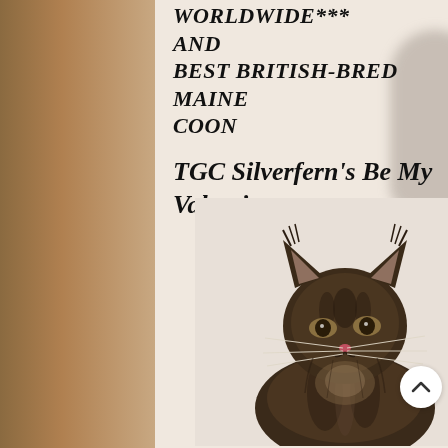WORLDWIDE*** AND BEST BRITISH-BRED MAINE COON
TGC Silverfern's Be My Valentine
[Figure (photo): Portrait photo of a large dark tabby Maine Coon cat with prominent ear tufts, long whiskers, and thick striped fur, sitting upright on a light background]